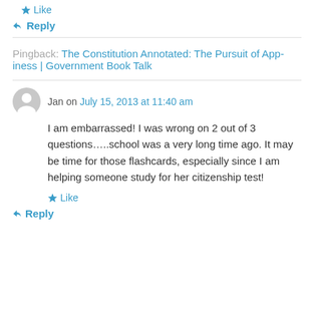★ Like
↳ Reply
Pingback: The Constitution Annotated: The Pursuit of App-iness | Government Book Talk
Jan on July 15, 2013 at 11:40 am
I am embarrassed! I was wrong on 2 out of 3 questions.....school was a very long time ago. It may be time for those flashcards, especially since I am helping someone study for her citizenship test!
★ Like
↳ Reply